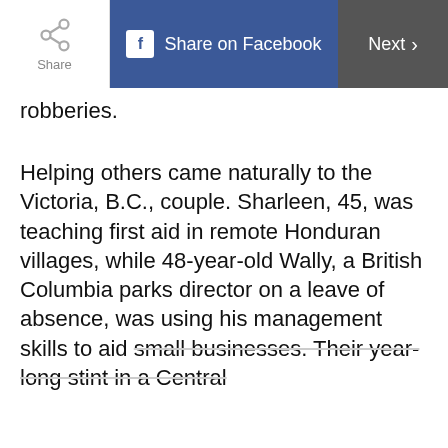[Figure (screenshot): Top navigation bar with Share button, Share on Facebook button, and Next button]
robberies.
Helping others came naturally to the Victoria, B.C., couple. Sharleen, 45, was teaching first aid in remote Honduran villages, while 48-year-old Wally, a British Columbia parks director on a leave of absence, was using his management skills to aid small businesses. Their year-long stint in a Central
Do you want our
Top stories of the day delivered to your inbox?
YES PLEASE!
NO THANKS